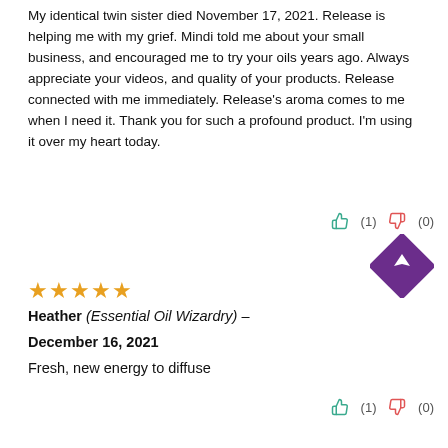My identical twin sister died November 17, 2021. Release is helping me with my grief. Mindi told me about your small business, and encouraged me to try your oils years ago. Always appreciate your videos, and quality of your products. Release connected with me immediately. Release's aroma comes to me when I need it. Thank you for such a profound product. I'm using it over my heart today.
(1) (0) thumbs up and down reactions
[Figure (illustration): Purple diamond shape with upward triangle/arrow inside]
★★★★★ (5 stars)
Heather (Essential Oil Wizardry) –
December 16, 2021
Fresh, new energy to diffuse
(1) (0) thumbs up and down reactions